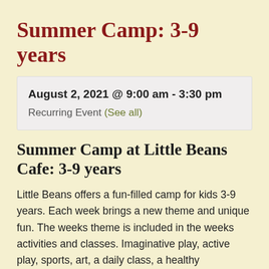Summer Camp: 3-9 years
August 2, 2021 @ 9:00 am - 3:30 pm
Recurring Event (See all)
Summer Camp at Little Beans Cafe: 3-9 years
Little Beans offers a fun-filled camp for kids 3-9 years. Each week brings a new theme and unique fun. The weeks theme is included in the weeks activities and classes. Imaginative play, active play, sports, art, a daily class, a healthy